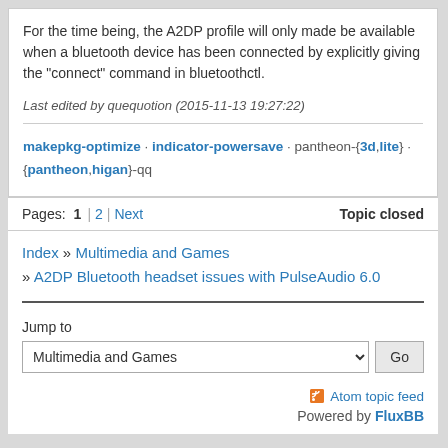For the time being, the A2DP profile will only made be available when a bluetooth device has been connected by explicitly giving the "connect" command in bluetoothctl.
Last edited by quequotion (2015-11-13 19:27:22)
makepkg-optimize · indicator-powersave · pantheon-{3d,lite} · {pantheon,higan}-qq
Pages:  1  |  2  |  Next  Topic closed
Index » Multimedia and Games » A2DP Bluetooth headset issues with PulseAudio 6.0
Jump to
Multimedia and Games
Atom topic feed
Powered by FluxBB